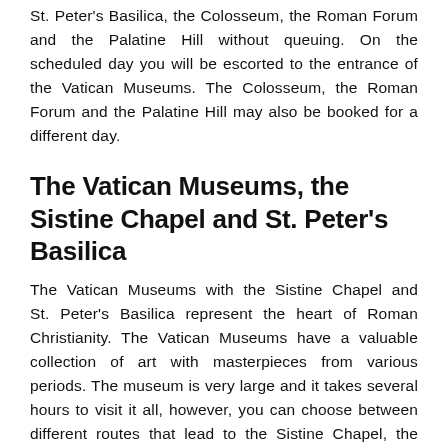St. Peter's Basilica, the Colosseum, the Roman Forum and the Palatine Hill without queuing. On the scheduled day you will be escorted to the entrance of the Vatican Museums. The Colosseum, the Roman Forum and the Palatine Hill may also be booked for a different day.
The Vatican Museums, the Sistine Chapel and St. Peter's Basilica
The Vatican Museums with the Sistine Chapel and St. Peter's Basilica represent the heart of Roman Christianity. The Vatican Museums have a valuable collection of art with masterpieces from various periods. The museum is very large and it takes several hours to visit it all, however, you can choose between different routes that lead to the Sistine Chapel, the Jewel of Michelangelo. The queue to enter the museums can last up to